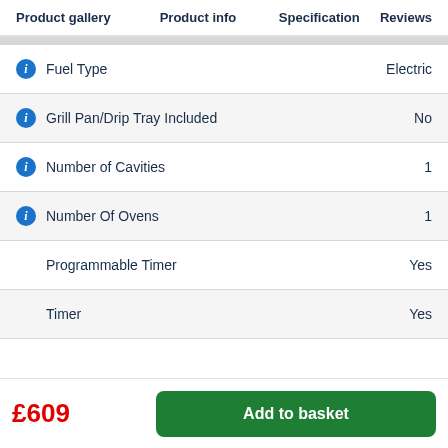Product gallery  Product info  Specification  Reviews
| Feature | Value |
| --- | --- |
| Fuel Type | Electric |
| Grill Pan/Drip Tray Included | No |
| Number of Cavities | 1 |
| Number Of Ovens | 1 |
| Programmable Timer | Yes |
| Timer | Yes |
£609
Add to basket